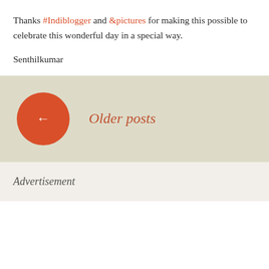Thanks #Indiblogger and &pictures for making this possible to celebrate this wonderful day in a special way.
Senthilkumar
Older posts
Advertisement